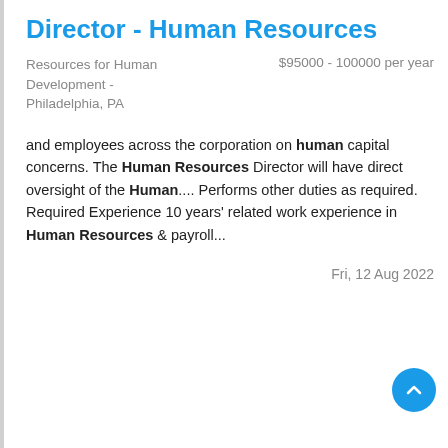Director - Human Resources
Resources for Human Development - Philadelphia, PA	$95000 - 100000 per year
and employees across the corporation on human capital concerns. The Human Resources Director will have direct oversight of the Human.... Performs other duties as required. Required Experience 10 years' related work experience in Human Resources & payroll...
Fri, 12 Aug 2022